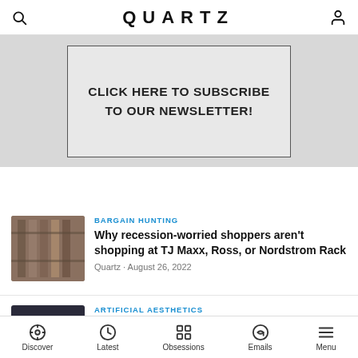QUARTZ
[Figure (other): Newsletter subscription banner: CLICK HERE TO SUBSCRIBE TO OUR NEWSLETTER!]
BARGAIN HUNTING — Why recession-worried shoppers aren't shopping at TJ Maxx, Ross, or Nordstrom Rack — Quartz · August 26, 2022
ARTIFICIAL AESTHETICS — The next step for DALL-E and Midjourney is animation
Discover | Latest | Obsessions | Emails | Menu